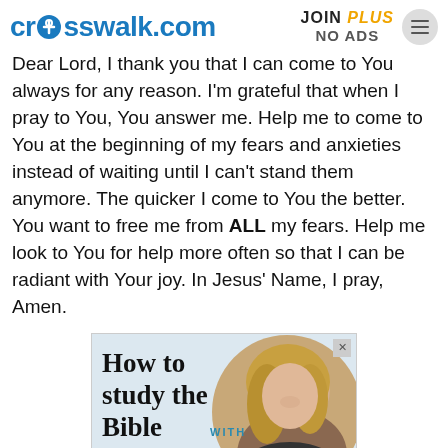crosswalk.com | JOIN PLUS NO ADS
Dear Lord, I thank you that I can come to You always for any reason. I'm grateful that when I pray to You, You answer me. Help me to come to You at the beginning of my fears and anxieties instead of waiting until I can't stand them anymore. The quicker I come to You the better. You want to free me from ALL my fears. Help me look to You for help more often so that I can be radiant with Your joy. In Jesus' Name, I pray, Amen.
[Figure (advertisement): Advertisement banner: 'How to study the Bible with Nicole Unice' featuring a smiling blonde woman. Teal/cyan bar at bottom.]